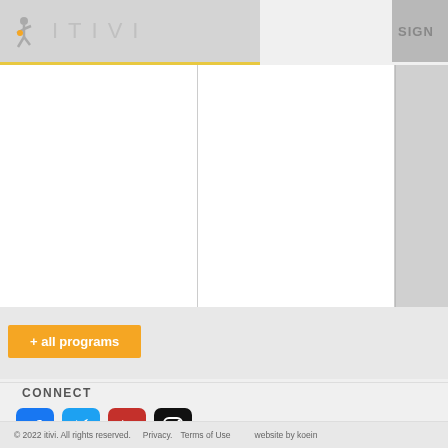[Figure (logo): ITIVI logo with stick figure icon and text ITIVI in light gray letters]
SIGN
[Figure (other): Three-column grid layout with white content area and gray overlay column on right]
+ all programs
CONNECT
[Figure (infographic): Social media icons: Facebook (blue), Twitter (blue bird), YouTube (red), Instagram (black)]
© 2022 itivi. All rights reserved.   Privacy.   Terms of Use        website by koein